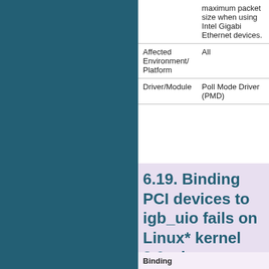|  |  |
| --- | --- |
|  | maximum packet size when using Intel Gigabit Ethernet devices. |
| Affected Environment/ Platform | All |
| Driver/Module | Poll Mode Driver (PMD) |
6.19. Binding PCI devices to igb_uio fails on Linux* kernel 3.9 when more than one device is used
Binding